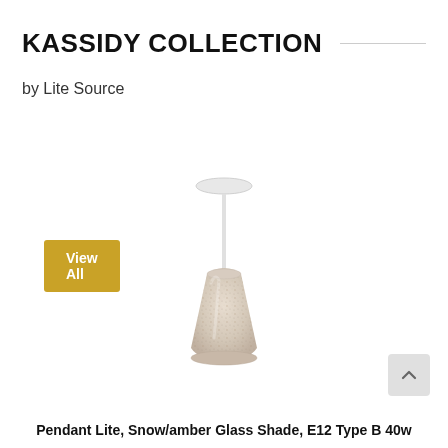KASSIDY COLLECTION
by Lite Source
View All
[Figure (photo): Pendant light with a snow/amber glass shade hanging from a white cord and ceiling canopy. The shade is a tapered bell shape with a textured speckled appearance.]
Pendant Lite, Snow/amber Glass Shade, E12 Type B 40w